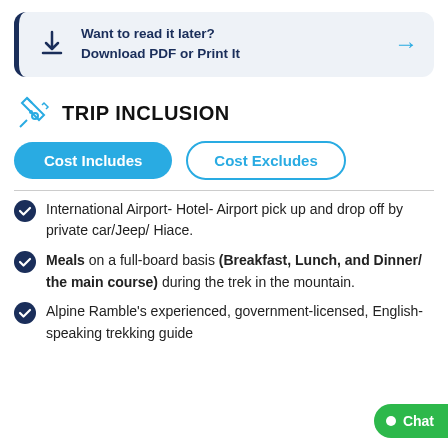[Figure (infographic): Banner with download/print call to action: 'Want to read it later? Download PDF or Print It' with download icon and right arrow]
TRIP INCLUSION
[Figure (infographic): Two tab buttons: 'Cost Includes' (active, filled blue) and 'Cost Excludes' (inactive, outlined blue)]
International Airport- Hotel- Airport pick up and drop off by private car/Jeep/ Hiace.
Meals on a full-board basis (Breakfast, Lunch, and Dinner/ the main course) during the trek in the mountain.
Alpine Ramble's experienced, government-licensed, English-speaking trekking guide